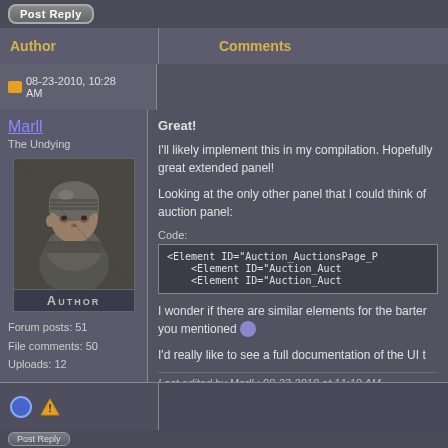Post Reply
Author | Comments
08-23-2010, 10:28 AM
Marll
The Undying
[Figure (photo): Avatar image of a fantasy game character wearing a helmet, labeled AUTHOR]
Forum posts: 51
File comments: 50
Uploads: 12
Great!
I'll likely implement this in my compilation. Hopefully great extended panel!
Looking at the only other panel that I could think of auction panel:
Code:
<Element ID="Auction_AuctionsPage_P
    <Element ID="Auction_Auct
    <Element ID="Auction_Auct
I wonder if there are similar elements for the barter you mentioned 😕
I'd really like to see a full documentation of the UI t
Last edited by Marll : 08-23-2010 at 11:10 AM.